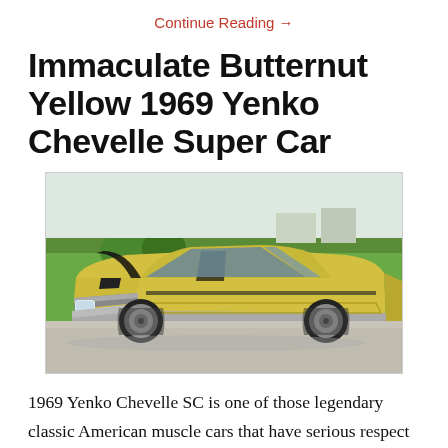Continue Reading →
Immaculate Butternut Yellow 1969 Yenko Chevelle Super Car
[Figure (photo): Front 3/4 view of a butternut yellow 1969 Yenko Chevelle Super Car parked on a driveway, with green lawn and trees in the background. The car features black hood stripes and chrome front bumper.]
1969 Yenko Chevelle SC is one of those legendary classic American muscle cars that have serious respect among